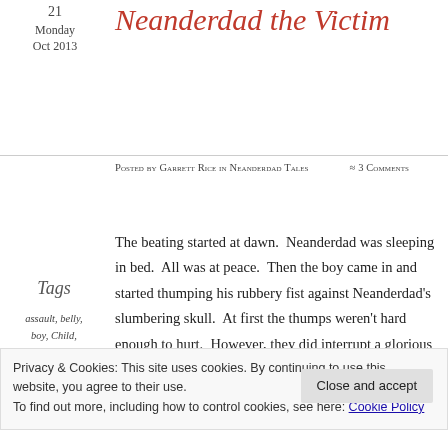21
Monday
Oct 2013
Neanderdad the Victim
Posted by Garrett Rice in Neanderdad Tales ≈ 3 Comments
The beating started at dawn.  Neanderdad was sleeping in bed.  All was at peace.  Then the boy came in and started thumping his rubbery fist against Neanderdad's slumbering skull.  At first the thumps weren't hard enough to hurt.  However, they did interrupt a glorious dream in which Neanderdad had been driving hundreds of long-nosed mammoths off a
Tags
assault, belly, boy, Child, childhood, children, dad,
Privacy & Cookies: This site uses cookies. By continuing to use this website, you agree to their use.
To find out more, including how to control cookies, see here: Cookie Policy
Close and accept